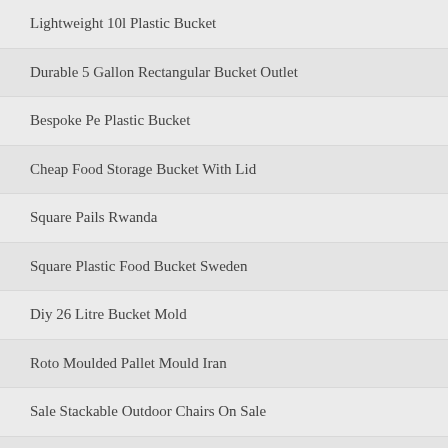Lightweight 10l Plastic Bucket
Durable 5 Gallon Rectangular Bucket Outlet
Bespoke Pe Plastic Bucket
Cheap Food Storage Bucket With Lid
Square Pails Rwanda
Square Plastic Food Bucket Sweden
Diy 26 Litre Bucket Mold
Roto Moulded Pallet Mould Iran
Sale Stackable Outdoor Chairs On Sale
Sale Trash Can Mould Factory